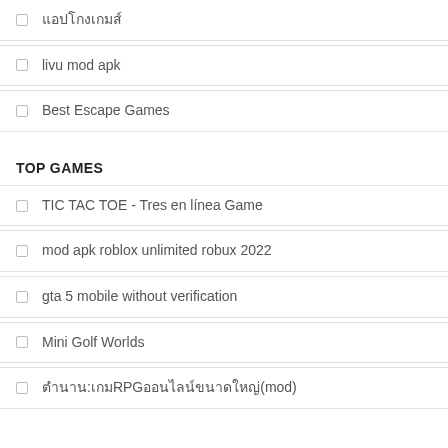แอปโกงเกมส์
livu mod apk
Best Escape Games
TOP GAMES
TIC TAC TOE - Tres en línea Game
mod apk roblox unlimited robux 2022
gta 5 mobile without verification
Mini Golf Worlds
ตำนาน:เกมRPGออนไลน์ขนาดใหญ่(mod)